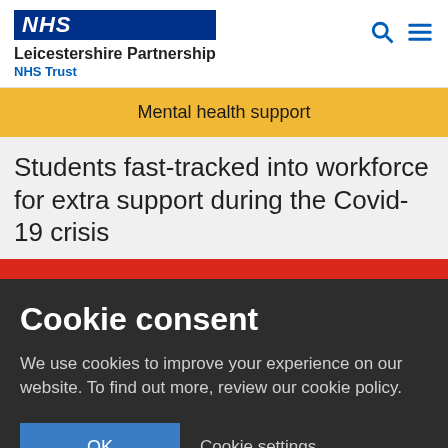NHS Leicestershire Partnership NHS Trust
Mental health support
Students fast-tracked into workforce for extra support during the Covid-19 crisis
Cookie consent
We use cookies to improve your experience on our website. To find out more, review our cookie policy.
OK | Cookie settings